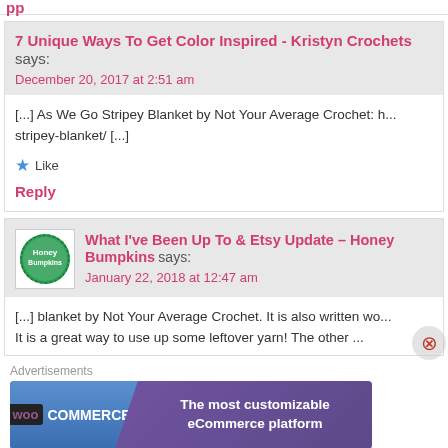pp
7 Unique Ways To Get Color Inspired - Kristyn Crochets says:
December 20, 2017 at 2:51 am
[...] As We Go Stripey Blanket by Not Your Average Crochet: h... stripey-blanket/ [...]
Like
Reply
What I've Been Up To & Etsy Update – Honey Bumpkins says:
January 22, 2018 at 12:47 am
[...] blanket by Not Your Average Crochet. It is also written wo... It is a great way to use up some leftover yarn! The other ...
Advertisements
[Figure (other): WooCommerce advertisement banner: 'The most customizable eCommerce platform']